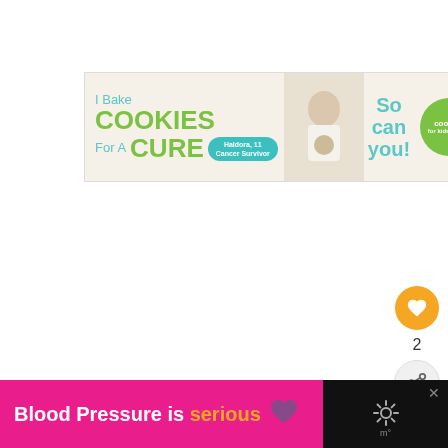[Figure (infographic): Advertisement banner: 'I Bake COOKIES For A CURE — Haldora, 11 Cancer Survivor — So can you! — cookies for kids cancer' with green circle logo and close button.]
[Figure (infographic): Social sidebar with orange heart/like button showing count of 2, and a share button below.]
2
[Figure (infographic): WHAT'S NEXT arrow panel: ACCA/Cordon de Lagunero Cagli logo circle, label 'WHAT'S NEXT →', title 'Learn Italian in Italy'.]
[Figure (infographic): Bottom banner: pink/magenta section 'Blood Pressure is serious' with purple heart, dark section with X close button and weather icon.]